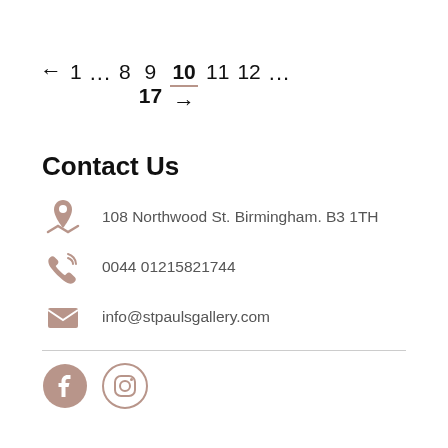← 1 ... 8 9 [10 underlined] 11 12 ... 17 →
Contact Us
108 Northwood St. Birmingham. B3 1TH
0044 01215821744
info@stpaulsgallery.com
[Figure (other): Facebook and Instagram social media icons in muted rose/taupe color]